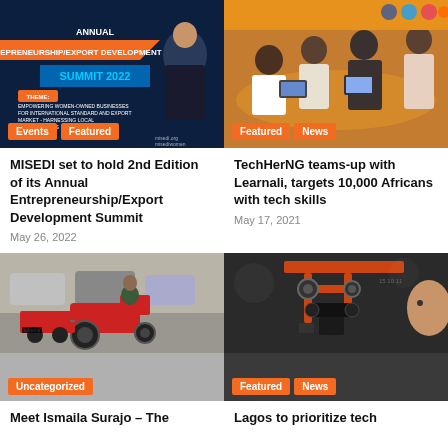[Figure (photo): Summit 2022 event poster with woman in business attire, dark blue background with orange accents]
[Figure (photo): People at a conference room table with laptops, orange background walls]
MISEDI set to hold 2nd Edition of its Annual Entrepreneurship/Export Development Summit
May 26, 2022
TechHerNG teams-up with Learnali, targets 10,000 Africans with tech skills
May 17, 2021
[Figure (photo): Man driving a small red tractor in a parking lot area]
[Figure (photo): Robotics equipment/robotic arm close-up]
Meet Ismaila Surajo – The
Lagos to prioritize tech